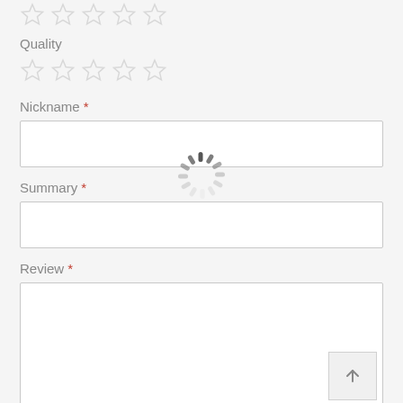[Figure (other): Five empty star rating icons at top (partially visible)]
Quality
[Figure (other): Five empty star rating icons for Quality]
Nickname *
[Figure (other): Empty text input box for Nickname]
[Figure (other): Loading spinner overlay]
Summary *
[Figure (other): Empty text input box for Summary]
Review *
[Figure (other): Empty textarea for Review with up-arrow button in bottom-right corner]